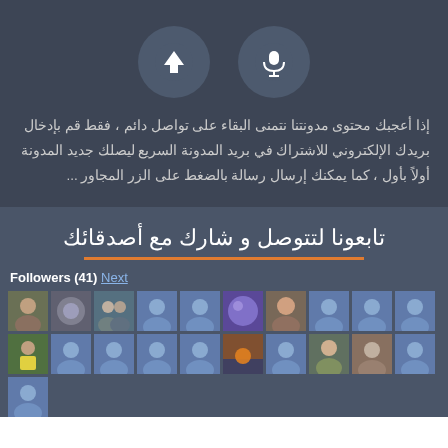[Figure (infographic): Two circular buttons: upload arrow and microphone icons on dark background]
إذا أعجبك محتوى مدونتنا نتمنى البقاء على تواصل دائم ، فقط قم بإدخال بريدك الإلكتروني للاشتراك في بريد المدونة السريع ليصلك جديد المدونة أولاً بأول ، كما يمكنك إرسال رسالة بالضغط على الزر المجاور ...
تابعونا لتتوصل و شارك مع أصدقائك
Followers (41) Next
[Figure (photo): Grid of follower avatar thumbnails, 21 total avatars in three rows]